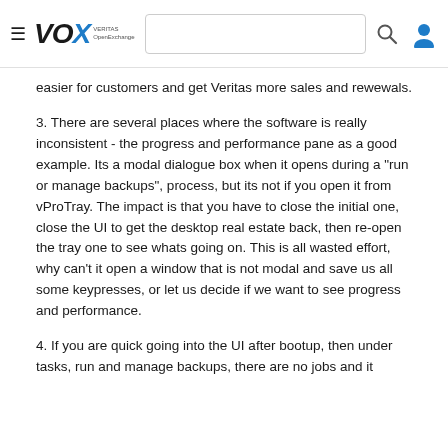VOX VERITAS OpendExchange — navigation header with search bar and user icon
easier for customers and get Veritas more sales and rewewals.
3. There are several places where the software is really inconsistent - the progress and performance pane as a good example. Its a modal dialogue box when it opens during a "run or manage backups", process, but its not if you open it from vProTray. The impact is that you have to close the initial one, close the UI to get the desktop real estate back, then re-open the tray one to see whats going on. This is all wasted effort, why can't it open a window that is not modal and save us all some keypresses, or let us decide if we want to see progress and performance.
4. If you are quick going into the UI after bootup, then under tasks, run and manage backups, there are no jobs and it